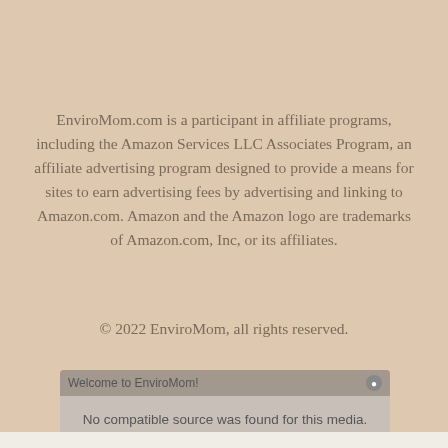EnviroMom.com is a participant in affiliate programs, including the Amazon Services LLC Associates Program, an affiliate advertising program designed to provide a means for sites to earn advertising fees by advertising and linking to Amazon.com. Amazon and the Amazon logo are trademarks of Amazon.com, Inc, or its affiliates.
© 2022 EnviroMom, all rights reserved.
[Figure (screenshot): A video player overlay with title bar 'Welcome to EnviroMom!' and message 'No compatible source was found for this media.' with a blurred preview thumbnail below.]